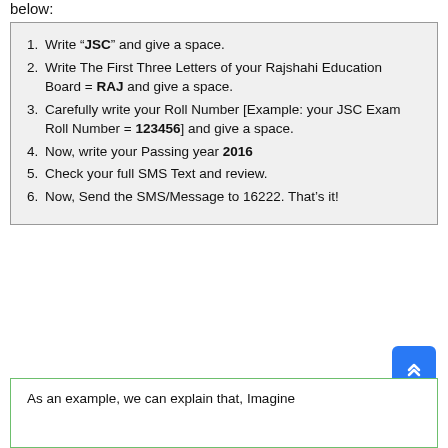below:
1. Write “JSC” and give a space.
2. Write The First Three Letters of your Rajshahi Education Board = RAJ and give a space.
3. Carefully write your Roll Number [Example: your JSC Exam Roll Number = 123456] and give a space.
4. Now, write your Passing year 2016
5. Check your full SMS Text and review.
6. Now, Send the SMS/Message to 16222. That’s it!
As an example, we can explain that, Imagine